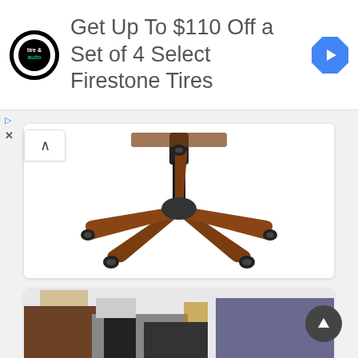[Figure (screenshot): Advertisement banner for Firestone Tires with circular tire & auto logo on left, text in center, and blue diamond arrow icon on right]
Get Up To $110 Off a Set of 4 Select Firestone Tires
[Figure (photo): Bottom view of a brown leather executive office chair showing the five-star base with casters]
Traditional Upholstered Executive Desk Chair
Brayton Manor Jr Executive Collection
by Liberty Furniture
Available at 9 authorized resellers
[Figure (photo): Partial view of another furniture item at bottom of page]